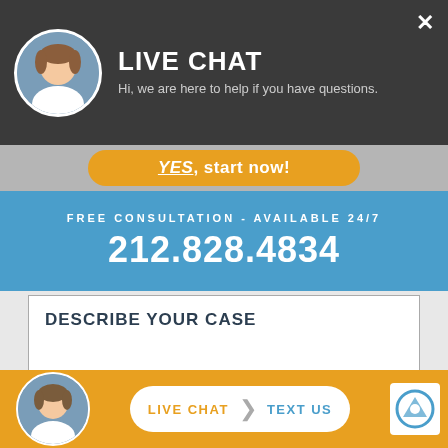LIVE CHAT
Hi, we are here to help if you have questions.
YES, start now!
FREE CONSULTATION - AVAILABLE 24/7
212.828.4834
DESCRIBE YOUR CASE
LIVE CHAT  |  TEXT US